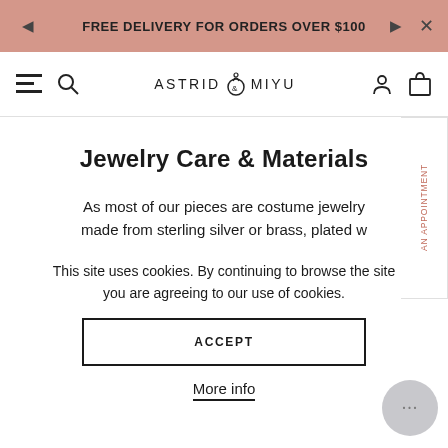FREE DELIVERY FOR ORDERS OVER $100
[Figure (screenshot): Astrid & Miyu navigation bar with hamburger menu, search icon, logo, user icon, and cart icon]
Jewelry Care & Materials
As most of our pieces are costume jewelry made from sterling silver or brass, plated w
This site uses cookies. By continuing to browse the site you are agreeing to our use of cookies.
ACCEPT
More info